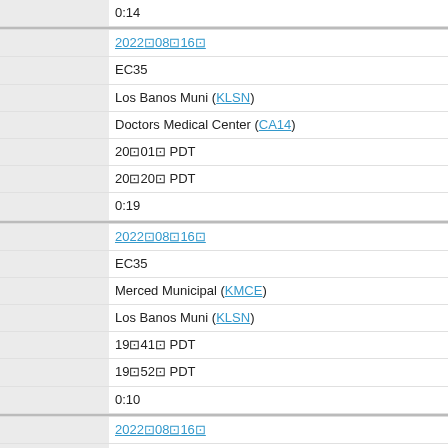| Field | Value |
| --- | --- |
|  | 0:14 |
|  | 2022╨08╨16╨ |
|  | EC35 |
|  | Los Banos Muni (KLSN) |
|  | Doctors Medical Center (CA14) |
|  | 20╨01╨ PDT |
|  | 20╨20╨ PDT |
|  | 0:19 |
|  | 2022╨08╨16╨ |
|  | EC35 |
|  | Merced Municipal (KMCE) |
|  | Los Banos Muni (KLSN) |
|  | 19╨41╨ PDT |
|  | 19╨52╨ PDT |
|  | 0:10 |
|  | 2022╨08╨16╨ |
|  | EC35 |
|  | Doctors Medical Center (CA14) |
|  | Merced Municipal (KMCE) |
|  | 12╨36╨ PDT |
|  | 12╨50╨ PDT |